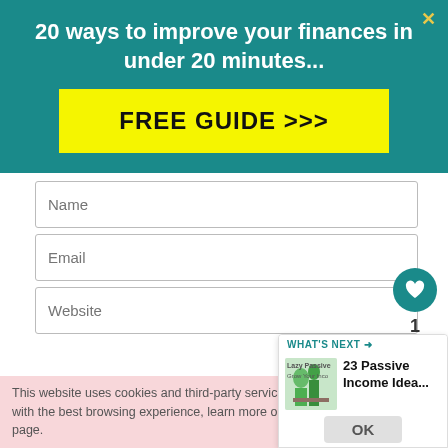20 ways to improve your finances in under 20 minutes...
[Figure (other): Yellow FREE GUIDE >>> button on teal background banner]
Name
Email
Website
POST COMMENT
1
This site uses Akismet to reduce spam.
WHAT'S NEXT → 23 Passive Income Idea...
This website uses cookies and third-party services to provide you with the best browsing experience, learn more on the disclaimer page.
OK